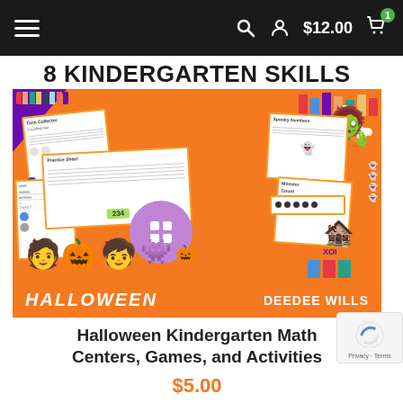$12.00
[Figure (illustration): Halloween Kindergarten Math Centers, Games, and Activities book cover with orange background, worksheets previews, cartoon children, monster, haunted house, and Halloween banner. Title '8 KINDERGARTEN SKILLS' at top, 'HALLOWEEN' and 'DEEDEE WILLS' at bottom.]
Halloween Kindergarten Math Centers, Games, and Activities
$5.00